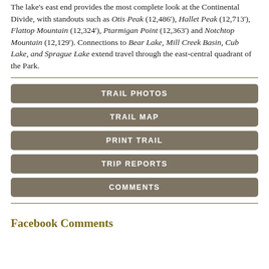The lake's east end provides the most complete look at the Continental Divide, with standouts such as Otis Peak (12,486'), Hallet Peak (12,713'), Flattop Mountain (12,324'), Ptarmigan Point (12,363') and Notchtop Mountain (12,129'). Connections to Bear Lake, Mill Creek Basin, Cub Lake, and Sprague Lake extend travel through the east-central quadrant of the Park.
TRAIL PHOTOS
TRAIL MAP
PRINT TRAIL
TRIP REPORTS
COMMENTS
Facebook Comments